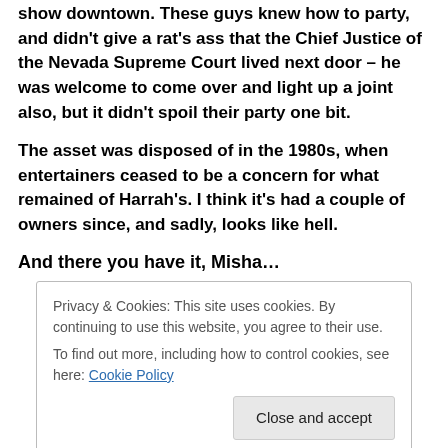show downtown. These guys knew how to party, and didn't give a rat's ass that the Chief Justice of the Nevada Supreme Court lived next door – he was welcome to come over and light up a joint also, but it didn't spoil their party one bit.
The asset was disposed of in the 1980s, when entertainers ceased to be a concern for what remained of Harrah's. I think it's had a couple of owners since, and sadly, looks like hell.
And there you have it, Misha…
Privacy & Cookies: This site uses cookies. By continuing to use this website, you agree to their use.
To find out more, including how to control cookies, see here: Cookie Policy
What's posted on here somewhere…: